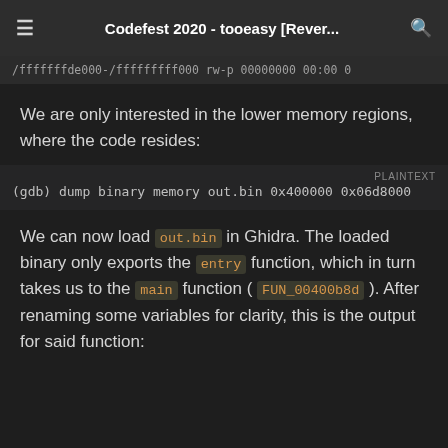Codefest 2020 - tooeasy [Rever...
/fffffffde000-/fffffffff000 rw-p 00000000 00:00 0
We are only interested in the lower memory regions, where the code resides:
(gdb) dump binary memory out.bin 0x400000 0x06d8000
We can now load out.bin in Ghidra. The loaded binary only exports the entry function, which in turn takes us to the main function ( FUN_00400b8d ). After renaming some variables for clarity, this is the output for said function: